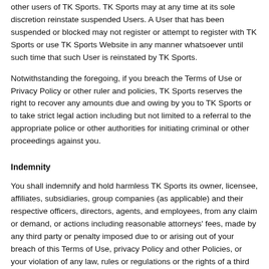other users of TK Sports. TK Sports may at any time at its sole discretion reinstate suspended Users. A User that has been suspended or blocked may not register or attempt to register with TK Sports or use TK Sports Website in any manner whatsoever until such time that such User is reinstated by TK Sports.
Notwithstanding the foregoing, if you breach the Terms of Use or Privacy Policy or other ruler and policies, TK Sports reserves the right to recover any amounts due and owing by you to TK Sports or to take strict legal action including but not limited to a referral to the appropriate police or other authorities for initiating criminal or other proceedings against you.
Indemnity
You shall indemnify and hold harmless TK Sports its owner, licensee, affiliates, subsidiaries, group companies (as applicable) and their respective officers, directors, agents, and employees, from any claim or demand, or actions including reasonable attorneys' fees, made by any third party or penalty imposed due to or arising out of your breach of this Terms of Use, privacy Policy and other Policies, or your violation of any law, rules or regulations or the rights of a third party.